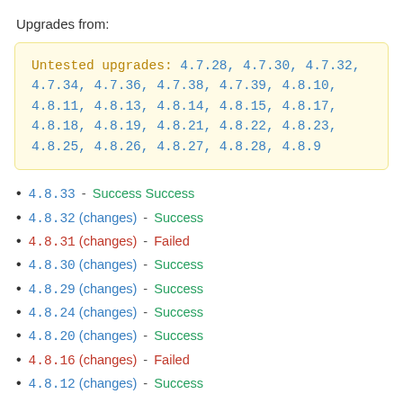Upgrades from:
Untested upgrades: 4.7.28, 4.7.30, 4.7.32, 4.7.34, 4.7.36, 4.7.38, 4.7.39, 4.8.10, 4.8.11, 4.8.13, 4.8.14, 4.8.15, 4.8.17, 4.8.18, 4.8.19, 4.8.21, 4.8.22, 4.8.23, 4.8.25, 4.8.26, 4.8.27, 4.8.28, 4.8.9
4.8.33 - Success Success
4.8.32 (changes) - Success
4.8.31 (changes) - Failed
4.8.30 (changes) - Success
4.8.29 (changes) - Success
4.8.24 (changes) - Success
4.8.20 (changes) - Success
4.8.16 (changes) - Failed
4.8.12 (changes) - Success